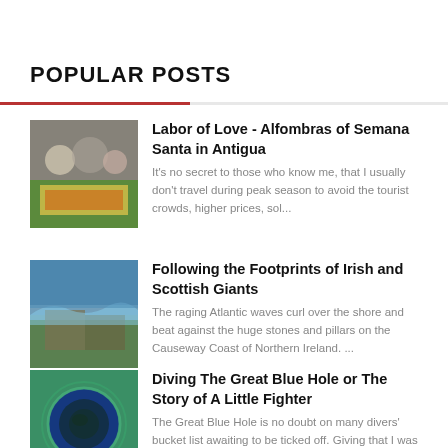POPULAR POSTS
Labor of Love - Alfombras of Semana Santa in Antigua
It's no secret to those who know me, that I usually don't travel during peak season to avoid the tourist crowds, higher prices, sol...
Following the Footprints of Irish and Scottish Giants
The raging Atlantic waves curl over the shore and beat against the huge stones and pillars on the Causeway Coast of Northern Ireland. ...
Diving The Great Blue Hole or The Story of A Little Fighter
The Great Blue Hole is no doubt on many divers' bucket list awaiting to be ticked off. Giving that I was new to scuba...